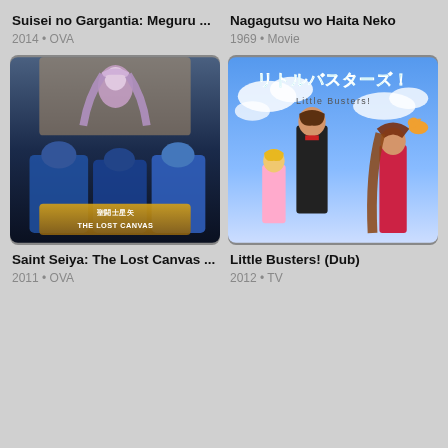Suisei no Gargantia: Meguru ...
2014 • OVA
Nagagutsu wo Haita Neko
1969 • Movie
[Figure (illustration): Anime cover art for Saint Seiya: The Lost Canvas showing armored warriors and a female figure with purple hair]
[Figure (illustration): Anime cover art for Little Busters! (Dub) showing a group of anime characters with blue sky background and Japanese title text]
Saint Seiya: The Lost Canvas ...
2011 • OVA
Little Busters! (Dub)
2012 • TV